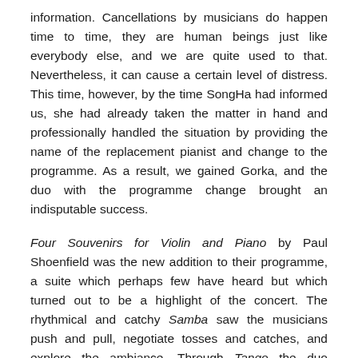information. Cancellations by musicians do happen time to time, they are human beings just like everybody else, and we are quite used to that. Nevertheless, it can cause a certain level of distress. This time, however, by the time SongHa had informed us, she had already taken the matter in hand and professionally handled the situation by providing the name of the replacement pianist and change to the programme. As a result, we gained Gorka, and the duo with the programme change brought an indisputable success.
Four Souvenirs for Violin and Piano by Paul Shoenfield was the new addition to their programme, a suite which perhaps few have heard but which turned out to be a highlight of the concert. The rhythmical and catchy Samba saw the musicians push and pull, negotiate tosses and catches, and explore the ambiance. Through Tango the duo conveyed the exoticness by sweetly entangling the two instruments' mellow sounds, with a